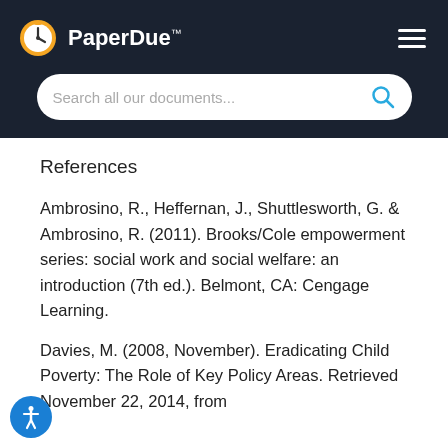[Figure (logo): PaperDue logo with clock icon and hamburger menu on dark navy background, with search bar]
References
Ambrosino, R., Heffernan, J., Shuttlesworth, G. & Ambrosino, R. (2011). Brooks/Cole empowerment series: social work and social welfare: an introduction (7th ed.). Belmont, CA: Cengage Learning.
Davies, M. (2008, November). Eradicating Child Poverty: The Role of Key Policy Areas. Retrieved November 22, 2014, from http://...